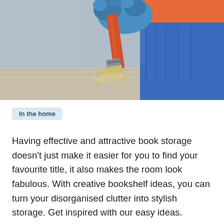[Figure (photo): A person wearing blue gloves and an orange top, holding a large paintbrush with an orange handle over a wooden surface, painting or varnishing it.]
In the home
Having effective and attractive book storage doesn't just make it easier for you to find your favourite title, it also makes the room look fabulous. With creative bookshelf ideas, you can turn your disorganised clutter into stylish storage. Get inspired with our easy ideas.